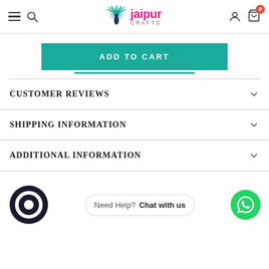Jaipur Crafts
ADD TO CART
CUSTOMER REVIEWS
SHIPPING INFORMATION
ADDITIONAL INFORMATION
Need Help? Chat with us